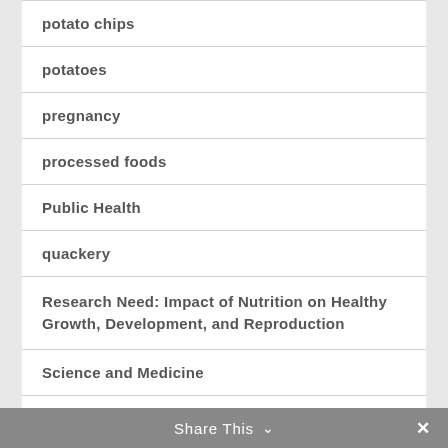potato chips
potatoes
pregnancy
processed foods
Public Health
quackery
Research Need: Impact of Nutrition on Healthy Growth, Development, and Reproduction
Science and Medicine
Share This ∨ ✕